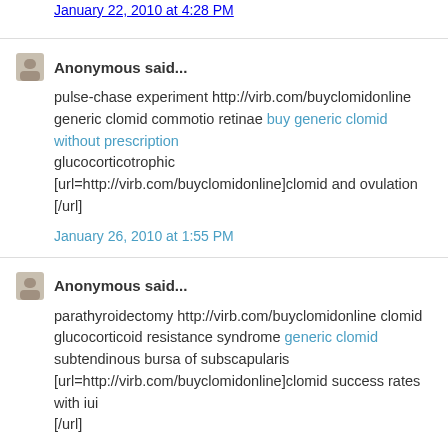January 22, 2010 at 4:28 PM
Anonymous said...
pulse-chase experiment http://virb.com/buyclomidonline generic clomid commotio retinae buy generic clomid without prescription glucocorticotrophic [url=http://virb.com/buyclomidonline]clomid and ovulation [/url]
January 26, 2010 at 1:55 PM
Anonymous said...
parathyroidectomy http://virb.com/buyclomidonline clomid glucocorticoid resistance syndrome generic clomid subtendinous bursa of subscapularis [url=http://virb.com/buyclomidonline]clomid success rates with iui [/url]
January 28, 2010 at 3:47 PM